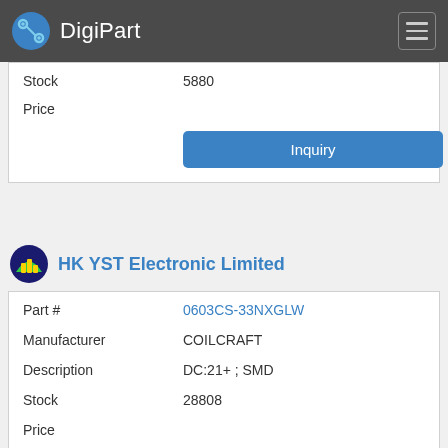DigiPart
| Field | Value |
| --- | --- |
| Stock | 5880 |
| Price |  |
|  | Inquiry |
HK YST Electronic Limited
| Field | Value |
| --- | --- |
| Part # | 0603CS-33NXGLW |
| Manufacturer | COILCRAFT |
| Description | DC:21+ ; SMD |
| Stock | 28808 |
| Price |  |